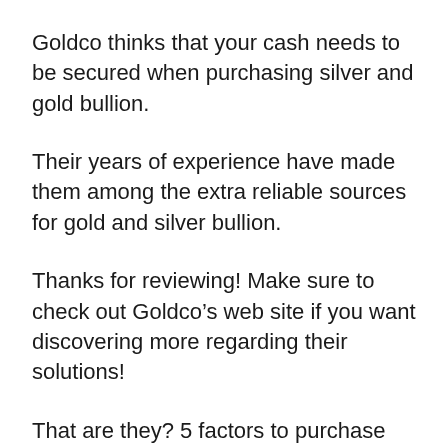Goldco thinks that your cash needs to be secured when purchasing silver and gold bullion.
Their years of experience have made them among the extra reliable sources for gold and silver bullion.
Thanks for reviewing! Make sure to check out Goldco’s web site if you want discovering more regarding their solutions!
That are they? 5 factors to purchase from Goldco
Goldco is a leading rare-earth element supplier that has actually been in the business for over two decades. They provide